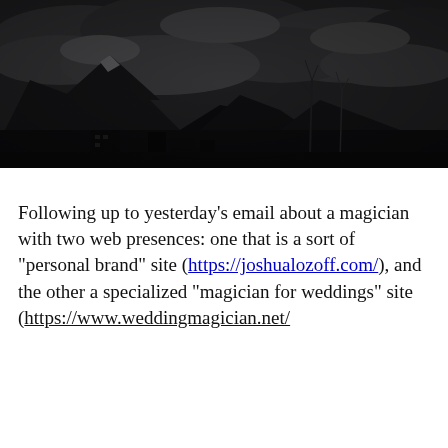[Figure (photo): Dark moody black-and-white landscape photo showing mountains, dramatic cloudy sky, bare trees, and buildings/structures at the base of the mountains.]
Following up to yesterday's email about a magician with two web presences: one that is a sort of "personal brand" site (https://joshualozoff.com/), and the other a specialized "magician for weddings" site (https://www.weddingmagician.net/)